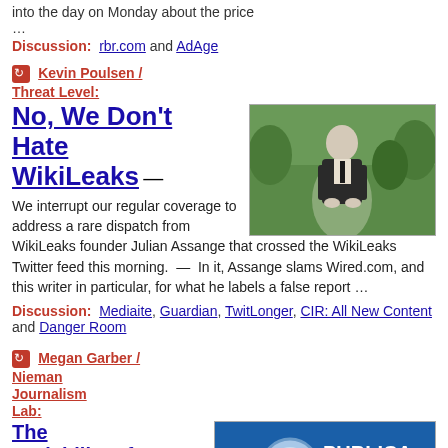into the day on Monday about the price …
Discussion:  rbr.com and AdAge
Kevin Poulsen / Threat Level:
No, We Don't Hate WikiLeaks
We interrupt our regular coverage to address a rare dispatch from WikiLeaks founder Julian Assange that crossed the WikiLeaks Twitter feed this morning.  —  In it, Assange slams Wired.com, and this writer in particular, for what he labels a false report …
Discussion:  Mediaite, Guardian, TwitLonger, CIR: All New Content and Danger Room
Megan Garber / Nieman Journalism Lab:
The scalability of collaboration: ProPublica partners with…
[Figure (photo): Person standing outdoors on a path surrounded by green foliage, wearing a dark suit]
[Figure (logo): ProPublica logo - blue background with magnifying glass and text 'ProPublica journalism in the public interest']